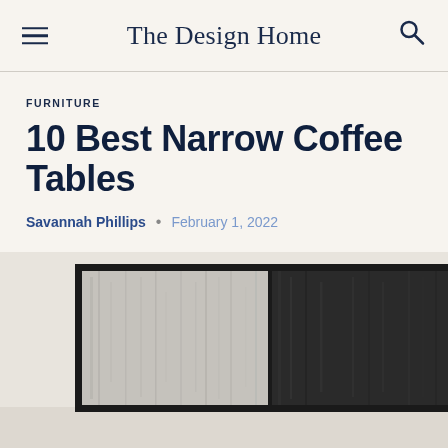The Design Home
FURNITURE
10 Best Narrow Coffee Tables
Savannah Phillips • February 1, 2022
[Figure (photo): Interior room scene featuring a large black-framed abstract painting with grey and black tones mounted on a cream wall, a black floor lamp, a tall thin black lamp stand, and a partial view of green plant leaves in the lower right corner.]